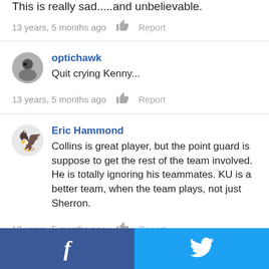This is really sad.....and unbelievable.
13 years, 5 months ago   Report
optichawk
Quit crying Kenny...
13 years, 5 months ago   Report
Eric Hammond
Collins is great player, but the point guard is suppose to get the rest of the team involved. He is totally ignoring his teammates. KU is a better team, when the team plays, not just Sherron.
13 years, 5 months ago   Report